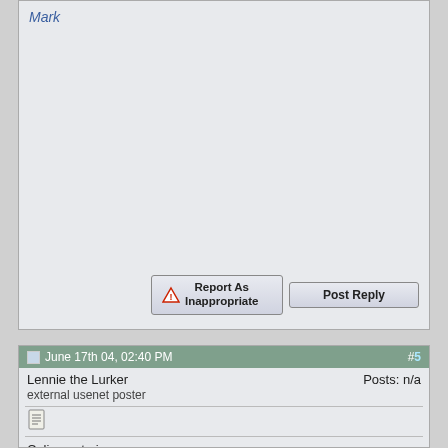Mark
[Figure (screenshot): Report As Inappropriate button with warning triangle icon]
[Figure (screenshot): Post Reply button]
June 17th 04, 02:40 PM  #5
Lennie the Lurker
external usenet poster
Posts: n/a
[Figure (screenshot): Document/notepad icon]
Colin wrote in message . ..
(CO2ID) wrote:

http://www.serif.com

Might look at "Movie Plus".

IF it looks good to you, DON'T ORDER ON LINE. Call them, discounts are normally more than 50%. I haven't used it much, but it seems to grab video from my VCR nicely. Don't have an output on my Cam, can't